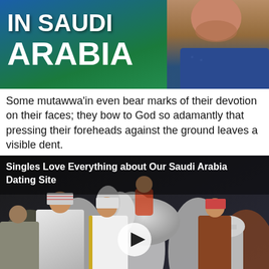[Figure (photo): Partial view of a book or video cover showing text 'IN SAUDI ARABIA' in large white bold letters on a blue/green background with a man visible on the right side]
Some mutawwa'in even bear marks of their devotion on their faces; they bow to God so adamantly that pressing their foreheads against the ground leaves a visible dent.
[Figure (photo): Advertisement photo for 'Singles Love Everything about Our Saudi Arabia Dating Site' showing a group of Arab men in traditional dress with a white horse and a trophy, with a video play button overlay]
Gay dating site in saudi arabia.